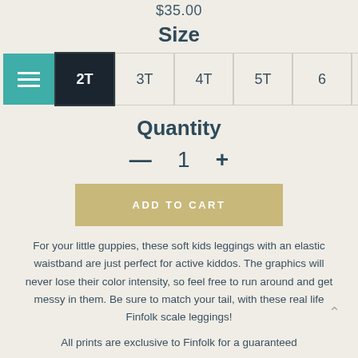$35.00
Size
2T  3T  4T  5T  6  6X  7
Quantity
— 1 +
ADD TO CART
For your little guppies, these soft kids leggings with an elastic waistband are just perfect for active kiddos. The graphics will never lose their color intensity, so feel free to run around and get messy in them. Be sure to match your tail, with these real life Finfolk scale leggings!
All prints are exclusive to Finfolk for a guaranteed